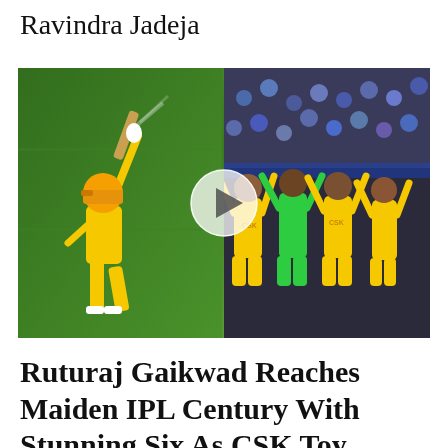Ravindra Jadeja
[Figure (photo): Video thumbnail showing two side-by-side cricket scenes: left panel shows a CSK player in yellow uniform hitting a shot on a green cricket field; right panel shows CSK players in yellow uniforms celebrating in the stands. A semi-transparent circular play button is overlaid in the center.]
Ruturaj Gaikwad Reaches Maiden IPL Century With Stunning Six As CSK Toy